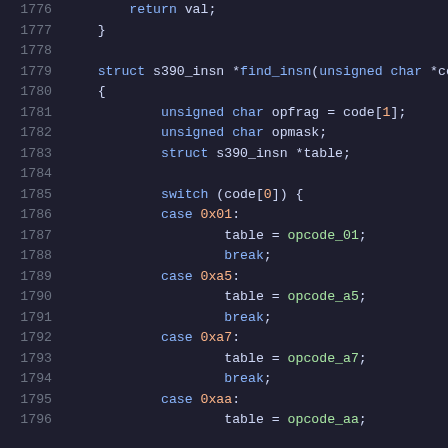Code listing lines 1776-1796 showing C function find_insn with switch statement on code[0]